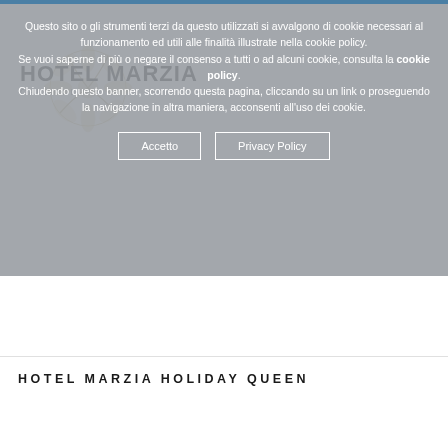[Figure (logo): Hotel Marzia logo with floral/botanical decoration, bold dark text]
Questo sito o gli strumenti terzi da questo utilizzati si avvalgono di cookie necessari al funzionamento ed utili alle finalità illustrate nella cookie policy. Se vuoi saperne di più o negare il consenso a tutti o ad alcuni cookie, consulta la cookie policy. Chiudendo questo banner, scorrendo questa pagina, cliccando su un link o proseguendo la navigazione in altra maniera, acconsenti all'uso dei cookie.
Accetto
Privacy Policy
HOTEL MARZIA HOLIDAY QUEEN